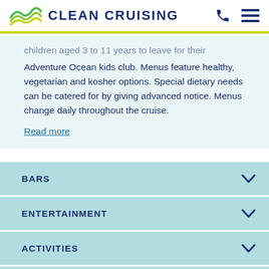CLEAN CRUISING
children aged 3 to 11 years to leave for their Adventure Ocean kids club. Menus feature healthy, vegetarian and kosher options. Special dietary needs can be catered for by giving advanced notice. Menus change daily throughout the cruise.
Read more
BARS
ENTERTAINMENT
ACTIVITIES
HEALTH & FITNESS
KIDS